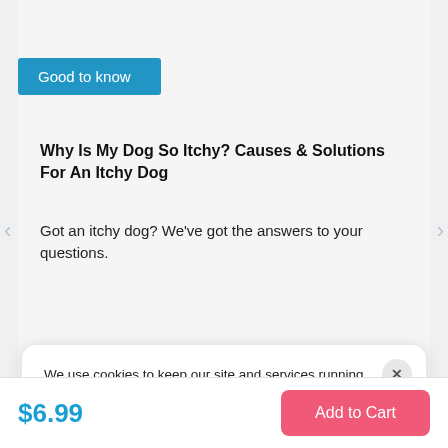Good to know
Why Is My Dog So Itchy? Causes & Solutions For An Itchy Dog
Got an itchy dog? We've got the answers to your questions.
We use cookies to keep our site and services running, and to create a sweeter, more "for-you" Tractive experience. For more information, please review our Privacy Policy.
Cookie Settings
$6.99
Add to Cart